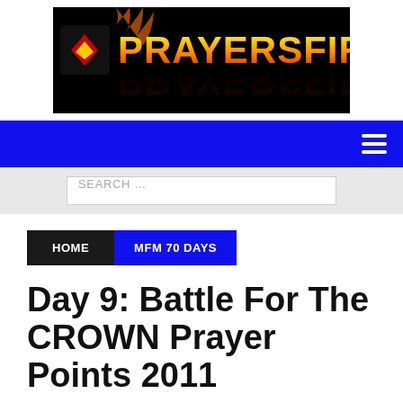[Figure (logo): PRAYERSFIRE logo banner with flaming text on black background with reflection effect]
[Figure (infographic): Blue navigation bar with white hamburger menu icon on the right]
[Figure (infographic): Light grey search bar area with white search input box containing placeholder text SEARCH ...]
HOME | MFM 70 DAYS
Day 9: Battle For The CROWN Prayer Points 2011